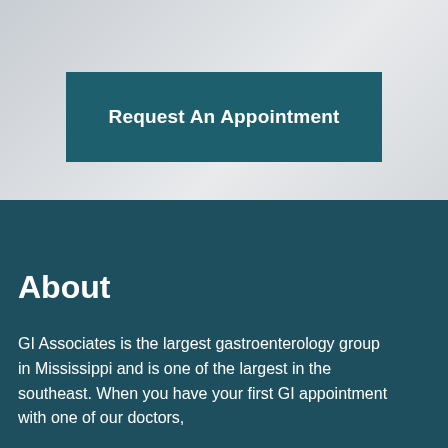[Figure (screenshot): Top section with a light gray/white background (blurred interior background), containing a dark teal button labeled 'Request An Appointment']
Request An Appointment
About
GI Associates is the largest gastroenterology group in Mississippi and is one of the largest in the southeast. When you have your first GI appointment with one of our doctors,